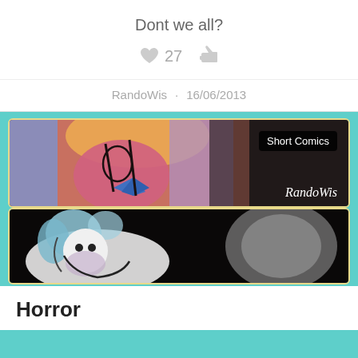Dont we all?
27
RandoWis · 16/06/2013
[Figure (illustration): Upper comic panel showing a colorful manga-style character in pink/purple tones with 'Short Comics' badge and 'RandoWis' signature]
[Figure (illustration): Lower comic panel showing a cartoon character with blue/white hair on black background, with a blurred grey shape on the right]
Horror